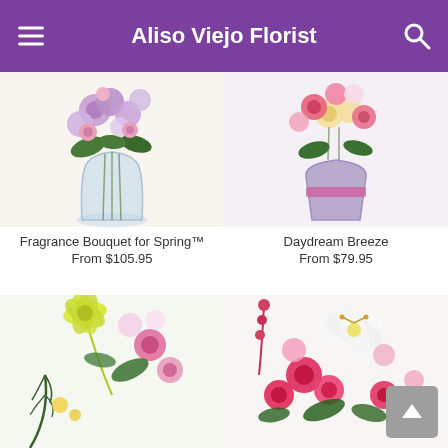Aliso Viejo Florist
[Figure (photo): Flower bouquet with purple and pink flowers in a clear glass vase — Fragrance Bouquet for Spring]
Fragrance Bouquet for Spring™
From $105.95
[Figure (photo): Colorful flower arrangement with pink roses and carnations in a lavender vase — Daydream Breeze]
Daydream Breeze
From $79.95
[Figure (photo): Spring flower bouquet with pink roses and yellow lilies]
[Figure (photo): Red roses and white lilies flower arrangement]